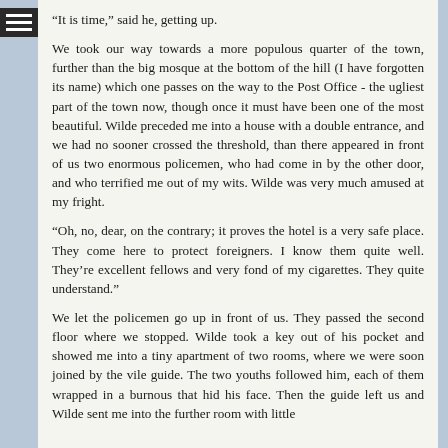“It is time,” said he, getting up.
We took our way towards a more populous quarter of the town, further than the big mosque at the bottom of the hill (I have forgotten its name) which one passes on the way to the Post Office - the ugliest part of the town now, though once it must have been one of the most beautiful. Wilde preceded me into a house with a double entrance, and we had no sooner crossed the threshold, than there appeared in front of us two enormous policemen, who had come in by the other door, and who terrified me out of my wits. Wilde was very much amused at my fright.
“Oh, no, dear, on the contrary; it proves the hotel is a very safe place. They come here to protect foreigners. I know them quite well. They’re excellent fellows and very fond of my cigarettes. They quite understand.”
We let the policemen go up in front of us. They passed the second floor where we stopped. Wilde took a key out of his pocket and showed me into a tiny apartment of two rooms, where we were soon joined by the vile guide. The two youths followed him, each of them wrapped in a burnous that hid his face. Then the guide left us and Wilde sent me into the further room with little